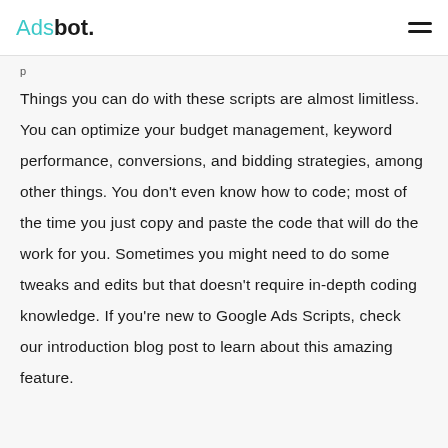Adsbot.
Things you can do with these scripts are almost limitless. You can optimize your budget management, keyword performance, conversions, and bidding strategies, among other things. You don't even know how to code; most of the time you just copy and paste the code that will do the work for you. Sometimes you might need to do some tweaks and edits but that doesn't require in-depth coding knowledge. If you're new to Google Ads Scripts, check our introduction blog post to learn about this amazing feature.